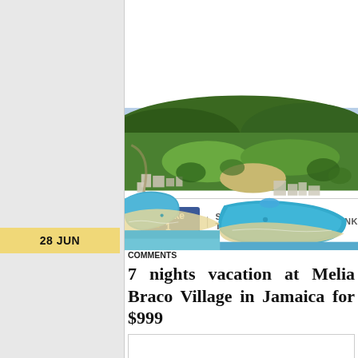28 JUN
erato in TRAVEL DEALS, VACATION PACKAGE DEALS | NO COMMENTS
7 nights vacation at Melia Braco Village in Jamaica for $999
[Figure (photo): Aerial photo of Melia Braco Village resort in Jamaica showing beachfront, turquoise water coves, resort buildings, green hills, and lush tropical landscape]